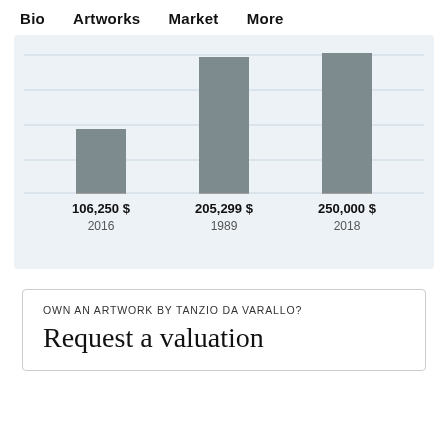Bio  Artworks  Market  More
[Figure (bar-chart): Auction results]
OWN AN ARTWORK BY TANZIO DA VARALLO?
Request a valuation